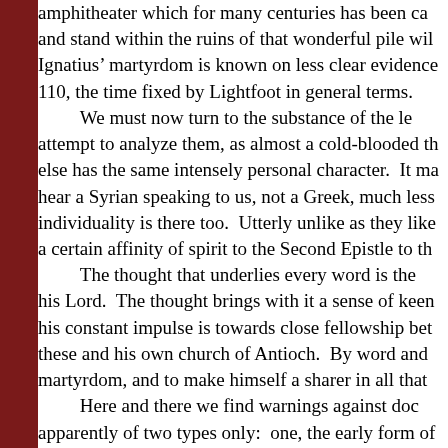amphitheater which for many centuries has been ca and stand within the ruins of that wonderful pile wil Ignatius' martyrdom is known on less clear evidence 110, the time fixed by Lightfoot in general terms. We must now turn to the substance of the le attempt to analyze them, as almost a cold-blooded th else has the same intensely personal character. It ma hear a Syrian speaking to us, not a Greek, much less individuality is there too. Utterly unlike as they like a certain affinity of spirit to the Second Epistle to th The thought that underlies every word is the his Lord. The thought brings with it a sense of keen his constant impulse is towards close fellowship bet these and his own church of Antioch. By word and martyrdom, and to make himself a sharer in all that Here and there we find warnings against doc apparently of two types only: one, the early form of